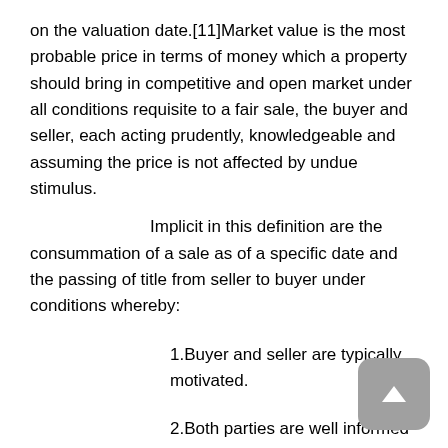on the valuation date.[11]Market value is the most probable price in terms of money which a property should bring in competitive and open market under all conditions requisite to a fair sale, the buyer and seller, each acting prudently, knowledgeable and assuming the price is not affected by undue stimulus.
Implicit in this definition are the consummation of a sale as of a specific date and the passing of title from seller to buyer under conditions whereby:
1.Buyer and seller are typically motivated.
2.Both parties are well informed and well advised, and both acting in what they consider their own best interests.